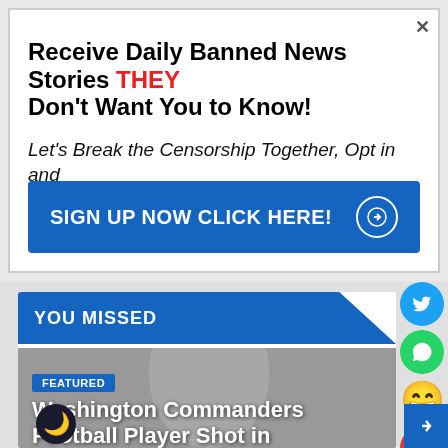[Figure (screenshot): Advertisement box with headline 'Receive Daily Banned News Stories THEY Don't Want You to Know!', italic subtext 'Let's Break the Censorship Together, Opt in and Spread the Word!', and a blue 'SIGN UP NOW CLICK HERE!' button.]
Receive Daily Banned News Stories THEY Don't Want You to Know!
Let's Break the Censorship Together, Opt in and Spread the Word!
YOU MISSED
FEATURED
Washington Commanders Football Player Shot in